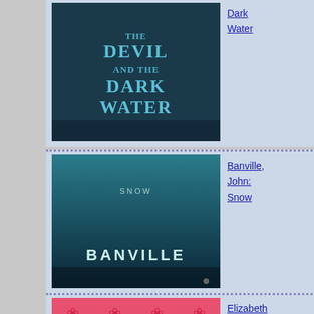[Figure (illustration): Book cover: The Devil and the Dark Water — dark teal/navy design with title text]
Dark Water
[Figure (illustration): Book cover: Snow by John Banville — dark teal atmospheric cover with author name at bottom]
Banville, John: Snow
[Figure (illustration): Book cover: Father by Elizabeth von Arnim — pink floral/decorative pattern with white silhouette]
Elizabeth von Arnim: Father
Godden,